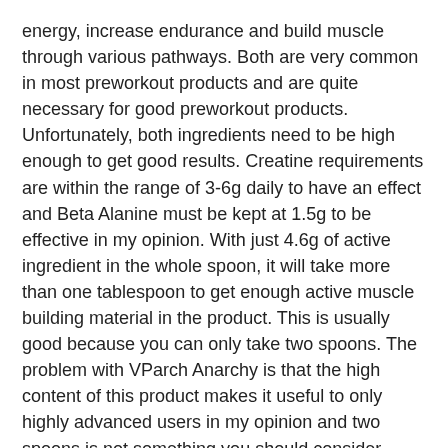energy, increase endurance and build muscle through various pathways. Both are very common in most preworkout products and are quite necessary for good preworkout products. Unfortunately, both ingredients need to be high enough to get good results. Creatine requirements are within the range of 3-6g daily to have an effect and Beta Alanine must be kept at 1.5g to be effective in my opinion. With just 4.6g of active ingredient in the whole spoon, it will take more than one tablespoon to get enough active muscle building material in the product. This is usually good because you can only take two spoons. The problem with VParch Anarchy is that the high content of this product makes it useful to only highly advanced users in my opinion and two spoons is not something you should consider lightly.
This product also contains several amino acids, glutamine and histidin. Histidine is intended to compliment the Alanine Beta, to form carnivores but this is not necessary as it is abundant in the body. Glutamine is a useful exercise regimen, but before exercise, it is most likely converted to sugar. Certain